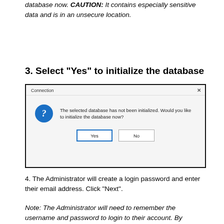database now. CAUTION: It contains especially sensitive data and is in an unsecure location.
3. Select “Yes” to initialize the database
[Figure (screenshot): A Windows dialog box titled 'Connection' with an X close button. Inside is a blue circle with a question mark icon and the message: 'The selected database has not been initialized. Would you like to initialize the database now?' Below are two buttons: 'Yes' (highlighted with blue border) and 'No'.]
4. The Administrator will create a login password and enter their email address. Click “Next”.
Note: The Administrator will need to remember the username and password to login to their account. By default, the username is